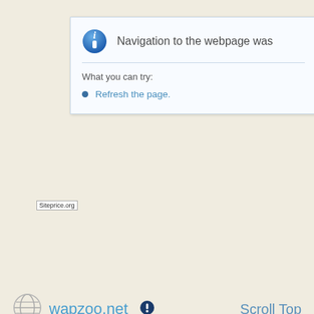[Figure (screenshot): Browser navigation error dialog box showing 'Navigation to the webpage was' message with an info icon, a horizontal divider, 'What you can try:' text, and a bullet point 'Refresh the page.' with Siteprice.org watermark in bottom left corner.]
[Figure (other): Blue rounded rectangle Like button with heart icon, 'Like' text, and count badge showing 0]
wapzoo.net
Scroll Top
wapzoo.net || african no. 1 downloading website nigeria music site, videos gists, java & symbian games 2014 2013 2015, s60v1, s60v2, s60v3, s60v5, symbian applications, symbian softwares, themes, nth, thm, apk, jar, jad, sis, sisx, cod, zip, swf, gif, jpg, jpeg, png, mp3, mp4, avi, videos, pc softwares, blackberry files, android